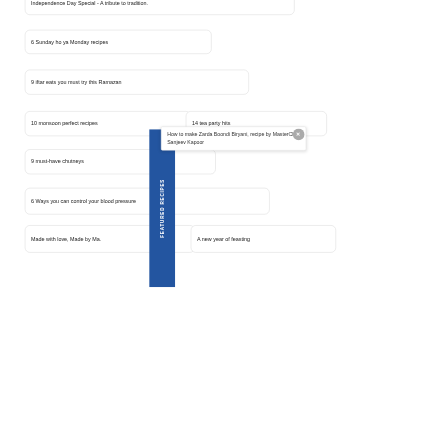Independence Day Special - A tribute to tradition.
6 Sunday ho ya Monday recipes
9 iftar eats you must try this Ramazan
10 monsoon perfect recipes
14 tea party hits
9 must-have chutneys
How to make Zarda Boondi Biryani, recipe by MasterChef Sanjeev Kapoor
6 Ways you can control your blood pressure
Made with love, Made by Ma.
A new year of feasting